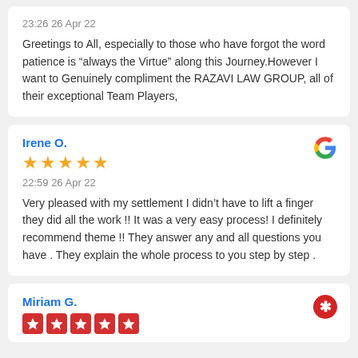23:26 26 Apr 22
Greetings to All, especially to those who have forgot the word patience is “always the Virtue” along this Journey.However I want to Genuinely compliment the RAZAVI LAW GROUP, all of their exceptional Team Players,
Irene O.
22:59 26 Apr 22
Very pleased with my settlement I didn’t have to lift a finger they did all the work !! It was a very easy process! I definitely recommend theme !! They answer any and all questions you have . They explain the whole process to you step by step .
Miriam G.